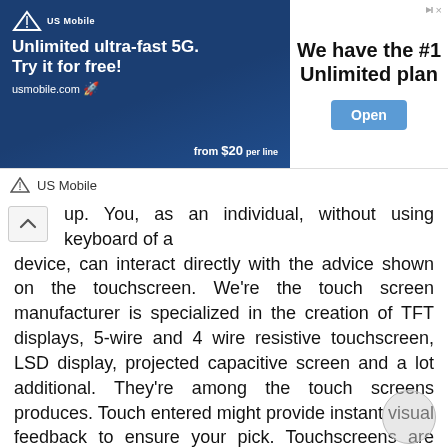[Figure (screenshot): Advertisement banner for US Mobile showing 'We have the #1 Unlimited plan' with an Open button and US Mobile branding. Ad image shows 'Unlimited ultra-fast 5G. Try it for free! usmobile.com from $20 per line'.]
up. You, as an individual, without using keyboard of a device, can interact directly with the advice shown on the touchscreen. We're the touch screen manufacturer is specialized in the creation of TFT displays, 5-wire and 4 wire resistive touchscreen, LSD display, projected capacitive screen and a lot additional. They're among the touch screens produces. Touch entered might provide instant visual feedback to ensure your pick. Touchscreens are typical in products like smartphones, consoles, computers, touchscreen TVs, I-pads and electronic voting devices, among many some others. All these are utilised in applications such as interactive movie systems, process and industrial management displays and information kiosks. The touchscreen sensor and firmware for your own host computer are made available by a broad range of aftermarket technique integrators, also perhaps not by display or processor suppliers. Makers and processor manufacturers have accepted that the tendency toward